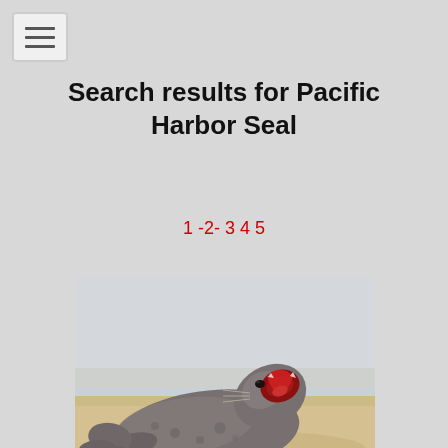☰ (menu button)
Search results for Pacific Harbor Seal
1 -2- 3 4 5
[Figure (photo): A Pacific harbor seal lying on a sandy beach with its mouth open wide, photographed from the side. Photo credit watermark visible in bottom right corner.]
Pacific harbor seal.